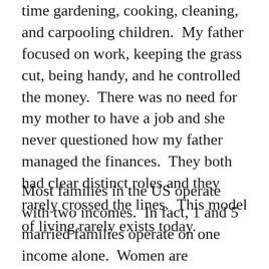time gardening, cooking, cleaning, and carpooling children.  My father focused on work, keeping the grass cut, being handy, and he controlled the money.  There was no need for my mother to have a job and she never questioned how my father managed the finances.  They both had clear distinct roles and they rarely crossed the lines.  This model of living rarely exists today.
Most families in the US operate with two incomes.  In fact, 1 and 5 married families operate on one income alone.  Women are obtaining lucrative positions and